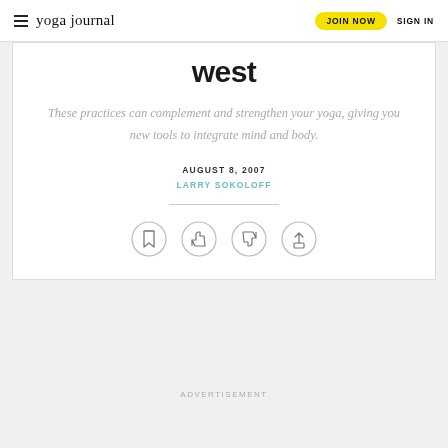yoga journal | JOIN NOW | SIGN IN
west
These practices can complement and strengthen your yoga, giving you new tools to integrate mind and body.
AUGUST 8, 2007
LARRY SOKOLOFF
[Figure (other): Four circular action icon buttons: bookmark, thumbs up, thumbs down, share]
ADVERTISEMENT